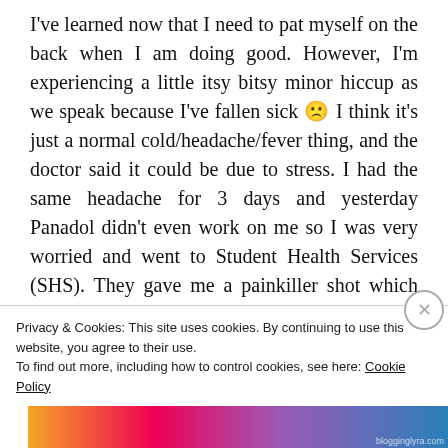I've learned now that I need to pat myself on the back when I am doing good. However, I'm experiencing a little itsy bitsy minor hiccup as we speak because I've fallen sick 🙁 I think it's just a normal cold/headache/fever thing, and the doctor said it could be due to stress. I had the same headache for 3 days and yesterday Panadol didn't even work on me so I was very worried and went to Student Health Services (SHS). They gave me a painkiller shot which should make me better soon,
Privacy & Cookies: This site uses cookies. By continuing to use this website, you agree to their use.
To find out more, including how to control cookies, see here: Cookie Policy
Close and accept